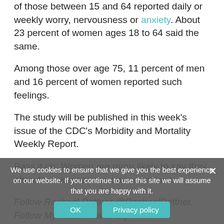of those between 15 and 64 reported daily or weekly worry, nervousness or anxiety. About 23 percent of women ages 18 to 64 said the same.
Among those over age 75, 11 percent of men and 16 percent of women reported such feelings.
The study will be published in this week's issue of the CDC's Morbidity and Mortality Weekly Report.
Pass it on: Women are more likely to say they often feel worried, nervous or anxious.
Follow Rachael Rettner @RachaelRettner. Follow MyHealthNewsDaily @MyHealth_MHND, Facebook & Google+
11 Tips to Lower Stress
5 Tips to Reduce 'Stress Eating'
5 Reasons Being a Woman Is Good for Your Health